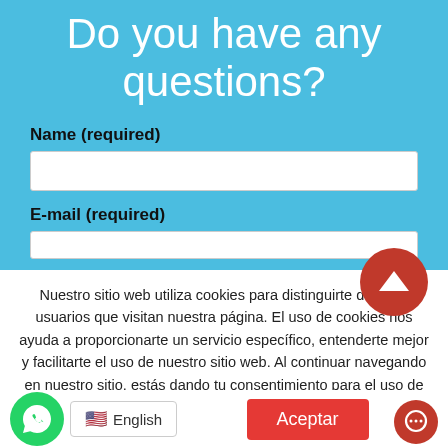Do you have any questions?
Name (required)
E-mail (required)
Nuestro sitio web utiliza cookies para distinguirte de otros usuarios que visitan nuestra página. El uso de cookies nos ayuda a proporcionarte un servicio específico, entenderte mejor y facilitarte el uso de nuestro sitio web. Al continuar navegando en nuestro sitio, estás dando tu consentimiento para el uso de cookies.
Para obtener más información en nuestra Privacy Policy.
English
Aceptar